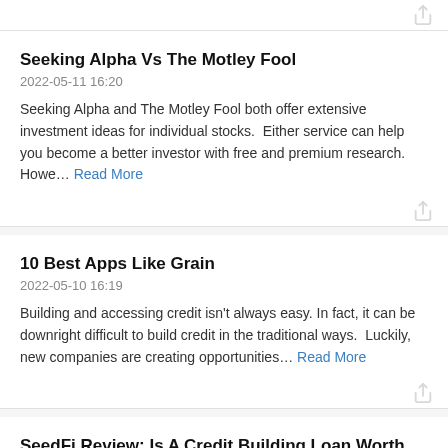[Figure (other): Share icon top right]
Seeking Alpha Vs The Motley Fool
2022-05-11 16:20
Seeking Alpha and The Motley Fool both offer extensive investment ideas for individual stocks.  Either service can help you become a better investor with free and premium research. Howe… Read More
[Figure (other): Share icon]
10 Best Apps Like Grain
2022-05-10 16:19
Building and accessing credit isn't always easy. In fact, it can be downright difficult to build credit in the traditional ways.  Luckily, new companies are creating opportunities… Read More
[Figure (other): Share icon]
SeedFi Review: Is A Credit Building Loan Worth It?
2022-05-09 16:57
Your credit score can significantly impact your life. Having a good score means you can unlock better financing opportunities and save money